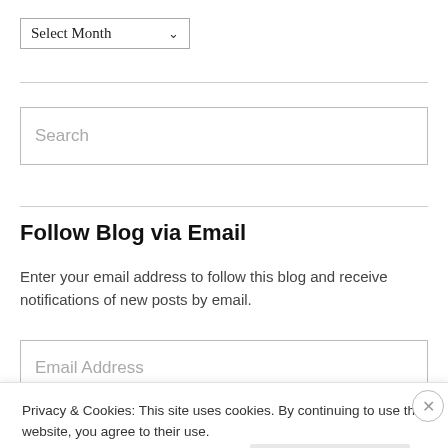[Figure (screenshot): Dropdown selector showing 'Select Month' with a downward arrow]
[Figure (screenshot): Search input field with placeholder text 'Search']
Follow Blog via Email
Enter your email address to follow this blog and receive notifications of new posts by email.
[Figure (screenshot): Email Address input field with placeholder text 'Email Address']
Privacy & Cookies: This site uses cookies. By continuing to use this website, you agree to their use.
To find out more, including how to control cookies, see here: Cookie Policy
Close and accept